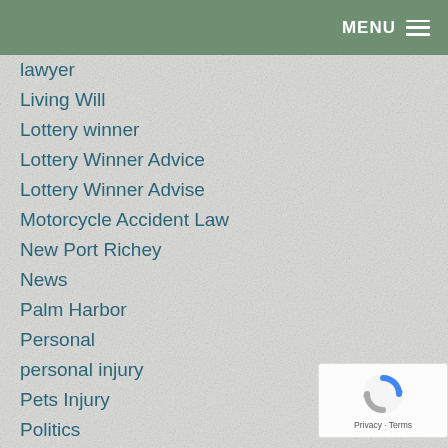MENU
lawyer
Living Will
Lottery winner
Lottery Winner Advice
Lottery Winner Advise
Motorcycle Accident Law
New Port Richey
News
Palm Harbor
Personal
personal injury
Pets Injury
Politics
Q&A
Road Rage
Social Media
Story
[Figure (logo): reCAPTCHA badge with Privacy and Terms links]